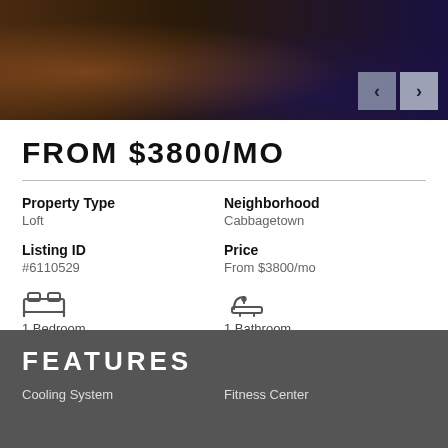[Figure (photo): Interior photo of a dark, moody dining or living space with wooden floors and blue ambient lighting]
FROM $3800/MO
| Property Type | Neighborhood |
| --- | --- |
| Loft | Cabbagetown |
| Listing ID | Price |
| --- | --- |
| #6110529 | From $3800/mo |
1 Bedroom
1 Bathroom
FEATURES
Cooling System
Fitness Center